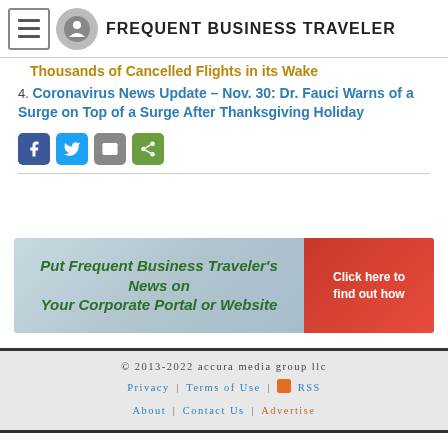FREQUENT BUSINESS TRAVELER
Thousands of Cancelled Flights in its Wake
4. Coronavirus News Update – Nov. 30: Dr. Fauci Warns of a Surge on Top of a Surge After Thanksgiving Holiday
[Figure (infographic): Social sharing icons: Facebook, Twitter, Email, Share]
[Figure (infographic): Banner advertisement: Put Frequent Business Traveler's News on Your Corporate Portal or Website – Click here to find out how]
© 2013-2022 accura media group llc | Privacy | Terms of Use | RSS | About | Contact Us | Advertise